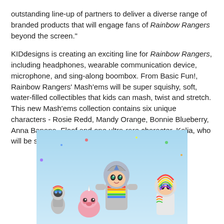outstanding line-up of partners to deliver a diverse range of branded products that will engage fans of Rainbow Rangers beyond the screen."
KIDdesigns is creating an exciting line for Rainbow Rangers, including headphones, wearable communication device, microphone, and sing-along boombox. From Basic Fun!, Rainbow Rangers' Mash'ems will be super squishy, soft, water-filled collectibles that kids can mash, twist and stretch. This new Mash'ems collection contains six unique characters - Rosie Redd, Mandy Orange, Bonnie Blueberry, Anna Banana, Floof and one ultra-rare character, Kalia, who will be sparkly.
[Figure (illustration): Animated Rainbow Rangers characters - colorful child superhero characters in armor with rainbow accents, posed together against a light blue sky background]